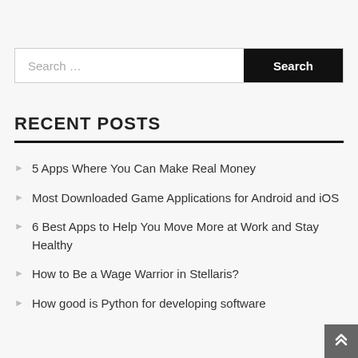Search …
RECENT POSTS
5 Apps Where You Can Make Real Money
Most Downloaded Game Applications for Android and iOS
6 Best Apps to Help You Move More at Work and Stay Healthy
How to Be a Wage Warrior in Stellaris?
How good is Python for developing software